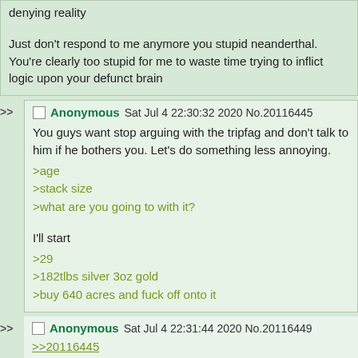denying reality

Just don't respond to me anymore you stupid neanderthal. You're clearly too stupid for me to waste time trying to inflict logic upon your defunct brain
Anonymous Sat Jul 4 22:30:32 2020 No.20116445

You guys want stop arguing with the tripfag and don't talk to him if he bothers you. Let's do something less annoying.
>age
>stack size
>what are you going to with it?

I'll start
>29
>182tlbs silver 3oz gold
>buy 640 acres and fuck off onto it
Anonymous Sat Jul 4 22:31:44 2020 No.20116449

>>20116445